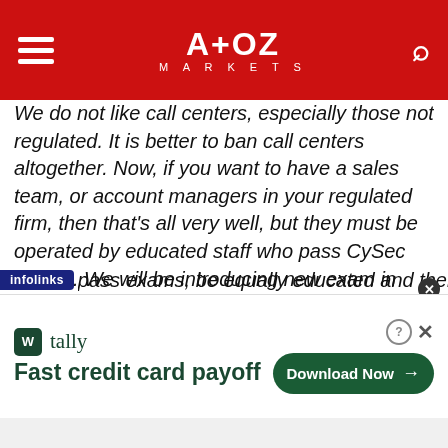A+OZ MARKETS
We do not like call centers, especially those not regulated. It is better to ban call centers altogether. Now, if you want to have a sales team, or account managers in your regulated firm, then that's all very well, but they must be operated by educated staff who pass CySec exams. We will be introducing new exam in 2017, and companies must expect to be reporting all the time and you must monitor them and hear what they are saying. If the sales force of your firm is based in another region, then the same monitoring must apply, and the staff must pass the …pass exams, be equally educated and there
[Figure (screenshot): Advertisement banner for Tally app: 'Fast credit card payoff' with a green Download Now button]